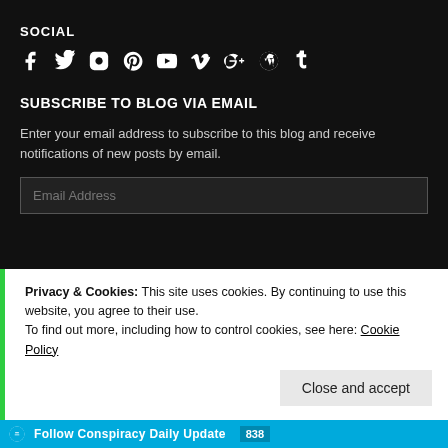SOCIAL
[Figure (illustration): Social media icons: Facebook, Twitter, Instagram, Pinterest, YouTube, Vimeo, Google+, WordPress, Tumblr]
SUBSCRIBE TO BLOG VIA EMAIL
Enter your email address to subscribe to this blog and receive notifications of new posts by email.
Email Address (input field)
Privacy & Cookies: This site uses cookies. By continuing to use this website, you agree to their use.
To find out more, including how to control cookies, see here: Cookie Policy
Close and accept
Follow Conspiracy Daily Update  838